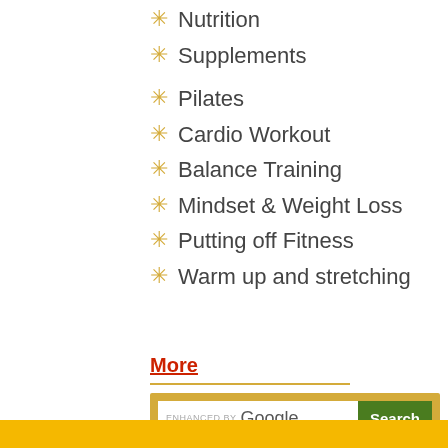Nutrition
Supplements
Pilates
Cardio Workout
Balance Training
Mindset & Weight Loss
Putting off Fitness
Warm up and stretching
More
[Figure (screenshot): Enhanced by Google search bar with Search button]